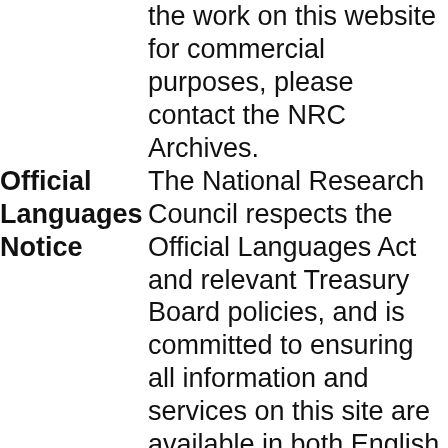|  | the work on this website for commercial purposes, please contact the NRC Archives. |
| Official Languages Notice | The National Research Council respects the Official Languages Act and relevant Treasury Board policies, and is committed to ensuring all information and services on this site are available in both English and French. However, some photo titles in the NRC Archives Photographs Collection are not translated from the language in which they were originally recorded. The |